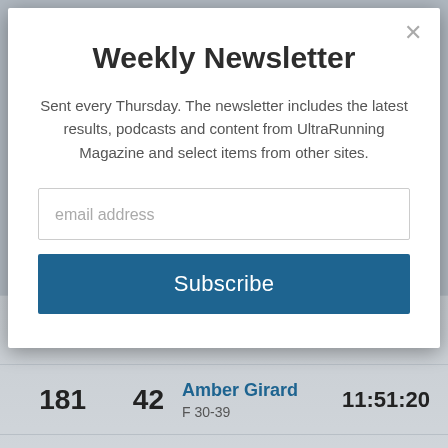Weekly Newsletter
Sent every Thursday. The newsletter includes the latest results, podcasts and content from UltraRunning Magazine and select items from other sites.
[Figure (screenshot): Email address input field with placeholder text 'email address']
[Figure (screenshot): Blue 'Subscribe' button]
| Overall Rank | Gender Rank | Name / Category | Time |
| --- | --- | --- | --- |
| 180 | 139 | Eric Hodges M 60-69 | 11:50:12 |
| 181 | 42 | Amber Girard F 30-39 | 11:51:20 |
|  |  | Steven Peterson (partial) |  |